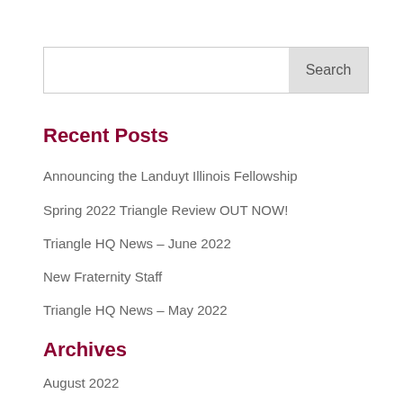Recent Posts
Announcing the Landuyt Illinois Fellowship
Spring 2022 Triangle Review OUT NOW!
Triangle HQ News – June 2022
New Fraternity Staff
Triangle HQ News – May 2022
Archives
August 2022
June 2022
May 2022